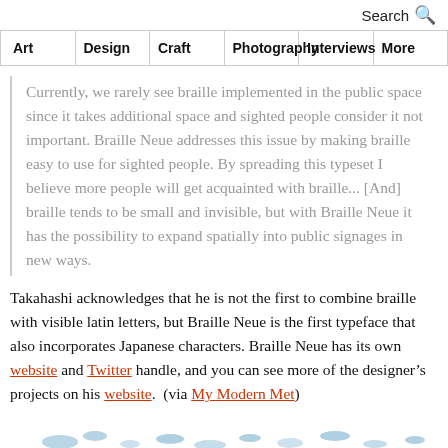Search
| Art | Design | Craft | Photography | Interviews | More |
| --- | --- | --- | --- | --- | --- |
Currently, we rarely see braille implemented in the public space since it takes additional space and sighted people consider it not important. Braille Neue addresses this issue by making braille easy to use for sighted people. By spreading this typeset I believe more people will get acquainted with braille... [And] braille tends to be small and invisible, but with Braille Neue it has the possibility to expand spatially into public signages in new ways.
Takahashi acknowledges that he is not the first to combine braille with visible latin letters, but Braille Neue is the first typeface that also incorporates Japanese characters. Braille Neue has its own website and Twitter handle, and you can see more of the designer’s projects on his website.  (via My Modern Met)
[Figure (photo): Partial view of blue scattered dots or objects at the bottom of the page, likely part of a larger image below the fold.]